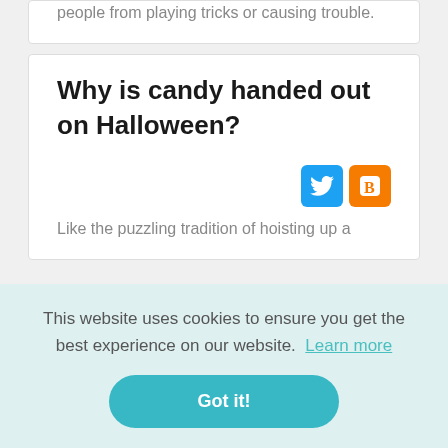people from playing tricks or causing trouble.
Why is candy handed out on Halloween?
Like the puzzling tradition of hoisting up a
This website uses cookies to ensure you get the best experience on our website. Learn more
Got it!